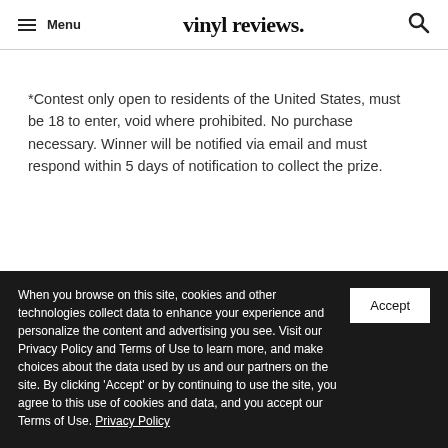Menu | vinyl reviews. | [search]
*Contest only open to residents of the United States, must be 18 to enter, void where prohibited. No purchase necessary. Winner will be notified via email and must respond within 5 days of notification to collect the prize.
When you browse on this site, cookies and other technologies collect data to enhance your experience and personalize the content and advertising you see. Visit our Privacy Policy and Terms of Use to learn more, and make choices about the data used by us and our partners on the site. By clicking 'Accept' or by continuing to use the site, you agree to this use of cookies and data, and you accept our Terms of Use. Privacy Policy